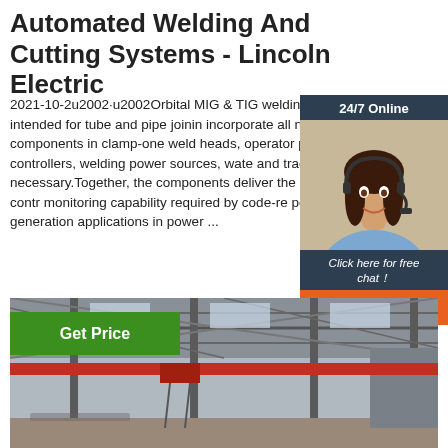Automated Welding And Cutting Systems - Lincoln Electric
2021-10-2u2002·u2002Orbital MIG & TIG welding systems, intended for tube and pipe joining, incorporate all necessary components including clamp-one weld heads, operator pendant controllers, welding power sources, water coolers and track rings if necessary.Together, these components deliver the precise arc control and monitoring capability required by code-required power generation applications in power ...
[Figure (photo): Customer service representative woman wearing headset, shown in a dark-themed chat widget with '24/7 Online' header, 'Click here for free chat!' text, and an orange QUOTATION button]
[Figure (photo): Interior of an industrial warehouse or factory with steel roof structure, overhead crane, and metal walls]
Get Price